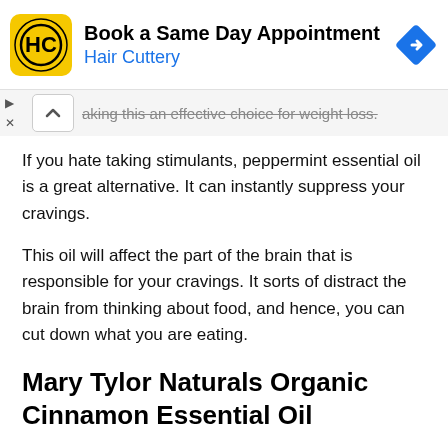[Figure (screenshot): Hair Cuttery advertisement banner with logo, text 'Book a Same Day Appointment' and 'Hair Cuttery', and a blue navigation diamond icon]
aking this an effective choice for weight loss.
If you hate taking stimulants, peppermint essential oil is a great alternative. It can instantly suppress your cravings.
This oil will affect the part of the brain that is responsible for your cravings. It sorts of distract the brain from thinking about food, and hence, you can cut down what you are eating.
Mary Tylor Naturals Organic Cinnamon Essential Oil